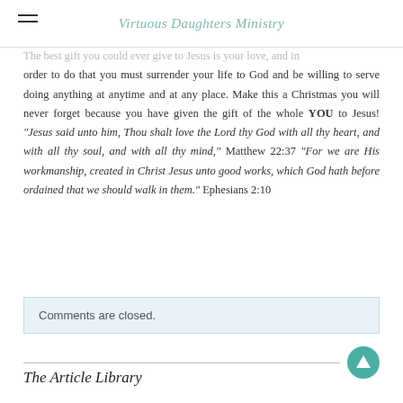Virtuous Daughters Ministry
The best gift you could ever give to Jesus is your love, and in order to do that you must surrender your life to God and be willing to serve doing anything at anytime and at any place. Make this a Christmas you will never forget because you have given the gift of the whole YOU to Jesus! "Jesus said unto him, Thou shalt love the Lord thy God with all thy heart, and with all thy soul, and with all thy mind," Matthew 22:37 "For we are His workmanship, created in Christ Jesus unto good works, which God hath before ordained that we should walk in them." Ephesians 2:10
Comments are closed.
The Article Library